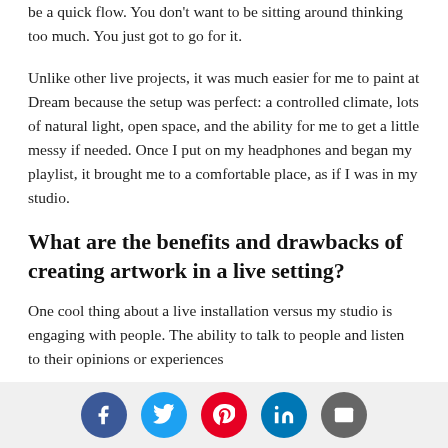be a quick flow. You don't want to be sitting around thinking too much. You just got to go for it.
Unlike other live projects, it was much easier for me to paint at Dream because the setup was perfect: a controlled climate, lots of natural light, open space, and the ability for me to get a little messy if needed. Once I put on my headphones and began my playlist, it brought me to a comfortable place, as if I was in my studio.
What are the benefits and drawbacks of creating artwork in a live setting?
One cool thing about a live installation versus my studio is engaging with people. The ability to talk to people and listen to their opinions or experiences
Social share icons: Facebook, Twitter, Pinterest, LinkedIn, Email